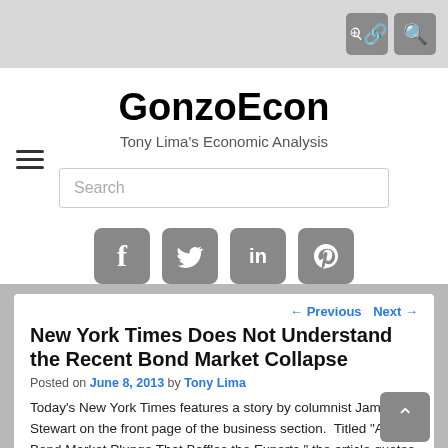GonzoEcon – Tony Lima's Economic Analysis
New York Times Does Not Understand the Recent Bond Market Collapse
Posted on June 8, 2013 by Tony Lima
Today's New York Times features a story by columnist James Stewart on the front page of the business section.  Titled "A Bond Market Plunge That Baffles the Experts," the article quotes a